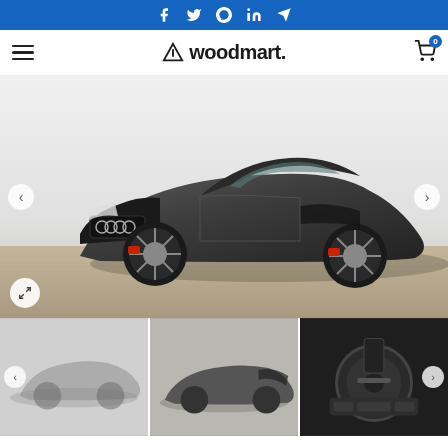Social share bar with icons: Facebook, Twitter, Pinterest, LinkedIn, Telegram
[Figure (logo): Woodmart logo with hamburger menu on left and shopping cart icon (badge: 0) on right]
[Figure (photo): Main product image: Dark grey Audi R8 Spyder sports car, front three-quarter view, on a textured floor background. Slide navigation arrows on left and right. Fullscreen expand button bottom-left.]
[Figure (photo): Thumbnail 1: Audi R8 Spyder, slightly faded/blurred, front three-quarter view]
[Figure (photo): Thumbnail 2: Audi R8 Spyder, rear three-quarter view, darker]
[Figure (photo): Thumbnail 3: Audi R8 interior, steering wheel and dashboard view]